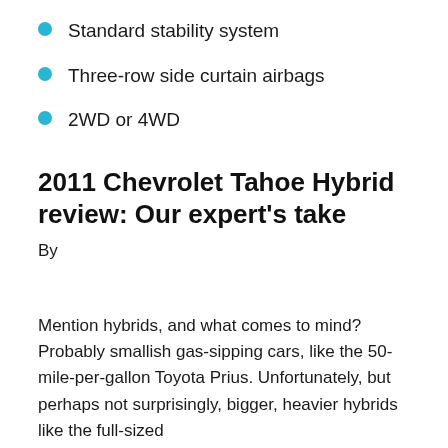Standard stability system
Three-row side curtain airbags
2WD or 4WD
2011 Chevrolet Tahoe Hybrid review: Our expert's take
By
Mention hybrids, and what comes to mind? Probably smallish gas-sipping cars, like the 50-mile-per-gallon Toyota Prius. Unfortunately, but perhaps not surprisingly, bigger, heavier hybrids like the full-sized